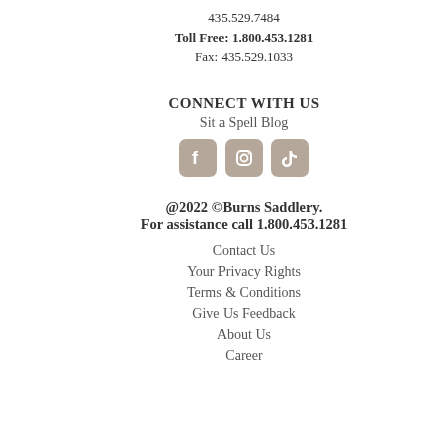435.529.7484
Toll Free: 1.800.453.1281
Fax: 435.529.1033
CONNECT WITH US
Sit a Spell Blog
[Figure (illustration): Three social media icons in tan/beige rounded squares: Facebook, Instagram, TikTok]
@2022 ©Burns Saddlery.
For assistance call 1.800.453.1281
Contact Us
Your Privacy Rights
Terms & Conditions
Give Us Feedback
About Us
Career